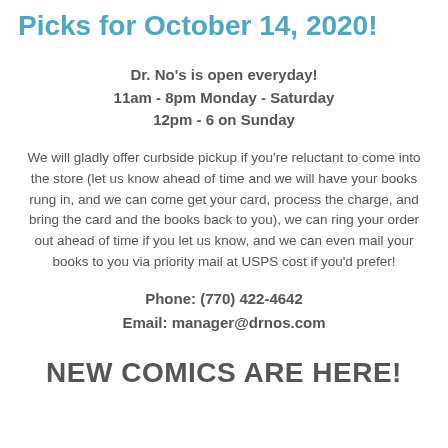Picks for October 14, 2020!
Dr. No's is open everyday!
11am - 8pm Monday - Saturday
12pm - 6 on Sunday
We will gladly offer curbside pickup if you're reluctant to come into the store (let us know ahead of time and we will have your books rung in, and we can come get your card, process the charge, and bring the card and the books back to you), we can ring your order out ahead of time if you let us know, and we can even mail your books to you via priority mail at USPS cost if you'd prefer!
Phone: (770) 422-4642
Email: manager@drnos.com
NEW COMICS ARE HERE!